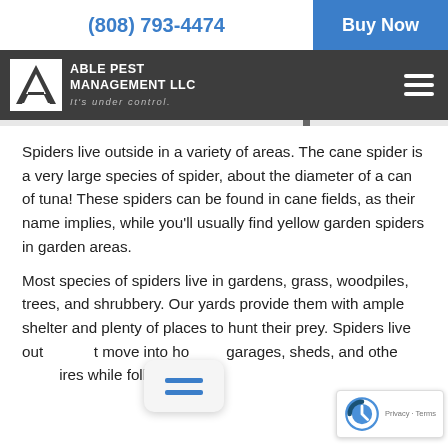(808) 793-4474  Buy Now
[Figure (logo): Able Pest Management LLC logo with triangle/arrow icon, company name and tagline 'It's under control.']
Spiders live outside in a variety of areas. The cane spider is a very large species of spider, about the diameter of a can of tuna! These spiders can be found in cane fields, as their name implies, while you’ll usually find yellow garden spiders in garden areas.
Most species of spiders live in gardens, grass, woodpiles, trees, and shrubbery. Our yards provide them with ample shelter and plenty of places to hunt their prey. Spiders live out but move into homes, garages, sheds, and other structures while following